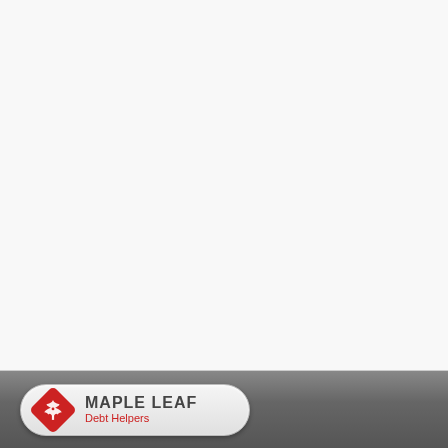[Figure (logo): Maple Leaf Debt Helpers logo in a pill-shaped button on a dark grey footer bar. The logo shows a red diamond-shaped maple leaf icon on the left, with 'MAPLE LEAF' in bold dark grey letters and 'Debt Helpers' in red below.]